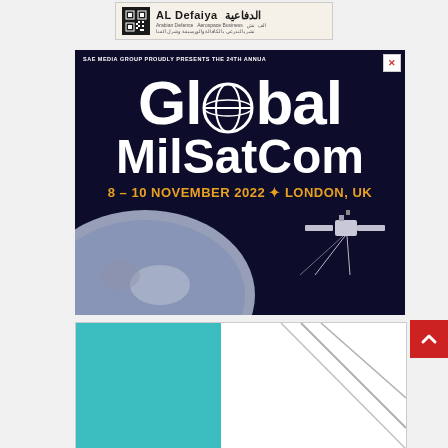[Figure (logo): AL Defaiya Arabian Defence Aerospace Business logo with QR code and Arabic text الدفاعية]
[Figure (infographic): SAE Media Group Global MilSatCom advertisement banner: 24th Annual Global MilSatCom conference, 8-10 November 2022, London UK, with globe icon in the title, earth and satellite imagery on dark navy background]
[Figure (illustration): Partial advertisement showing teal/cyan left panel and white right panel with diagonal lines, bottom of page]